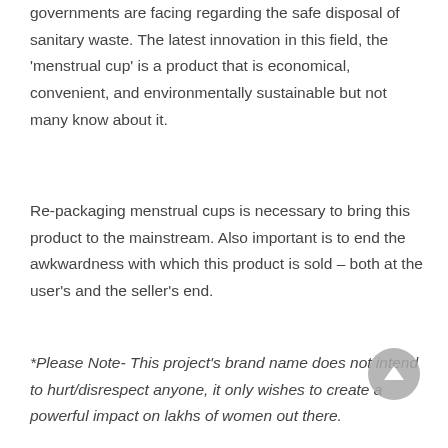governments are facing regarding the safe disposal of sanitary waste. The latest innovation in this field, the 'menstrual cup' is a product that is economical, convenient, and environmentally sustainable but not many know about it.
Re-packaging menstrual cups is necessary to bring this product to the mainstream. Also important is to end the awkwardness with which this product is sold – both at the user's and the seller's end.
*Please Note- This project's brand name does not intend to hurt/disrespect anyone, it only wishes to create a powerful impact on lakhs of women out there.